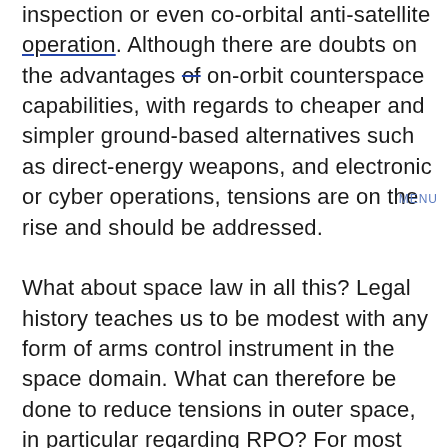inspection or even co-orbital anti-satellite operation. Although there are doubts on the advantages of on-orbit counterspace capabilities, with regards to cheaper and simpler ground-based alternatives such as direct-energy weapons, and electronic or cyber operations, tensions are on the rise and should be addressed.

What about space law in all this? Legal history teaches us to be modest with any form of arms control instrument in the space domain. What can therefore be done to reduce tensions in outer space, in particular regarding RPO? For most problems, good answers can be found in the past, and a recent one in that particular case. In all domains, and a fortiori outer space, tension arises